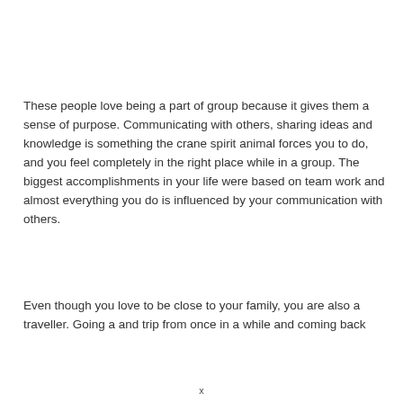These people love being a part of group because it gives them a sense of purpose. Communicating with others, sharing ideas and knowledge is something the crane spirit animal forces you to do, and you feel completely in the right place while in a group. The biggest accomplishments in your life were based on team work and almost everything you do is influenced by your communication with others.
Even though you love to be close to your family, you are also a traveller. Going a and trip from once in a while and coming back
x